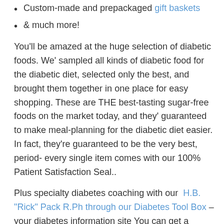Custom-made and prepackaged gift baskets
& much more!
You'll be amazed at the huge selection of diabetic foods. We' sampled all kinds of diabetic food for the diabetic diet, selected only the best, and brought them together in one place for easy shopping. These are THE best-tasting sugar-free foods on the market today, and they' guaranteed to make meal-planning for the diabetic diet easier. In fact, they're guaranteed to be the very best, period- every single item comes with our 100% Patient Satisfaction Seal..
Plus specialty diabetes coaching with our H.B. "Rick" Pack R.Ph through our Diabetes Tool Box – your diabetes information site You can get a complete education on blood sugar monitoring, diet, lifestyle- whatever parts of the puzzle you need most to lower your risks for long-term problems. Make an appointment to see your Diabetes Tool Box now. You